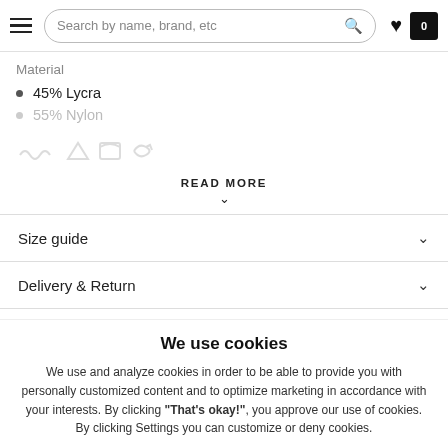Search by name, brand, etc
Material
45% Lycra
55% Nylon
READ MORE
Size guide
Delivery & Return
Complete the look
We use cookies
We use and analyze cookies in order to be able to provide you with personally customized content and to optimize marketing in accordance with your interests. By clicking "That's okay!", you approve our use of cookies. By clicking Settings you can customize or deny cookies.